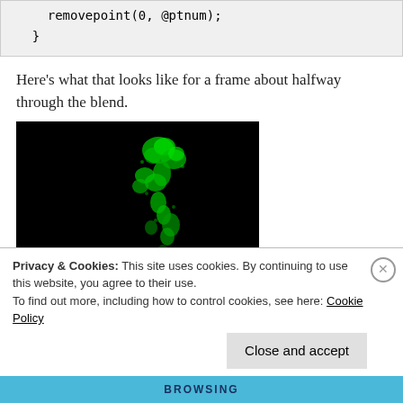removepoint(0, @ptnum);
    }
Here's what that looks like for a frame about halfway through the blend.
[Figure (photo): Black background with a bright green glowing shape resembling a dancing or morphing figure made of dots/particles]
Privacy & Cookies: This site uses cookies. By continuing to use this website, you agree to their use.
To find out more, including how to control cookies, see here: Cookie Policy
Close and accept